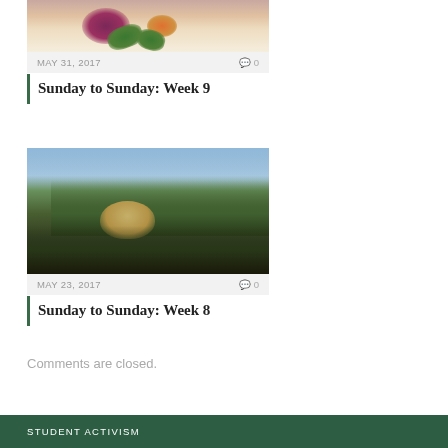[Figure (photo): Top-cropped food photo showing a colorful plated dish with purple/red beet, orange/yellow garnish, and green herb leaves on a white plate]
MAY 31, 2017   💬 0
Sunday to Sunday: Week 9
[Figure (photo): Outdoor photo of a golden retriever or similar dog in a grassy field near the ocean/sea, with tall grass in foreground and blue sky in background]
MAY 23, 2017   💬 0
Sunday to Sunday: Week 8
Comments are closed.
STUDENT ACTIVISM